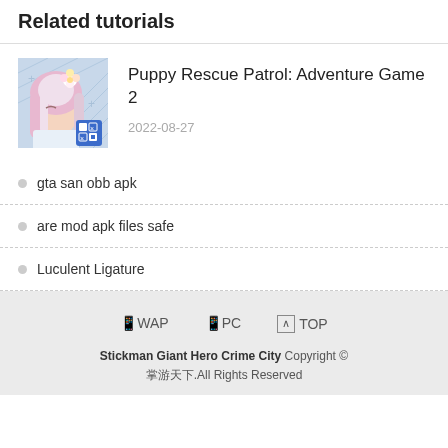Related tutorials
[Figure (illustration): Anime-style illustration of a woman with pink-white hair and a flower, with a game icon overlay in the bottom right corner]
Puppy Rescue Patrol: Adventure Game 2
2022-08-27
gta san obb apk
are mod apk files safe
Luculent Ligature
📱WAP　　📱PC　　🔼 TOP
Stickman Giant Hero Crime City Copyright ©
掌游天下.All Rights Reserved